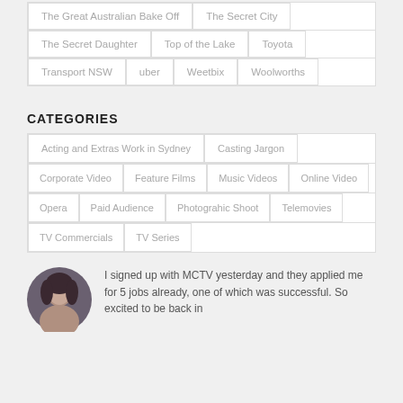The Great Australian Bake Off | The Secret City
The Secret Daughter | Top of the Lake | Toyota
Transport NSW | uber | Weetbix | Woolworths
CATEGORIES
Acting and Extras Work in Sydney | Casting Jargon
Corporate Video | Feature Films | Music Videos | Online Video
Opera | Paid Audience | Photograhic Shoot | Telemovies
TV Commercials | TV Series
I signed up with MCTV yesterday and they applied me for 5 jobs already, one of which was successful. So excited to be back in